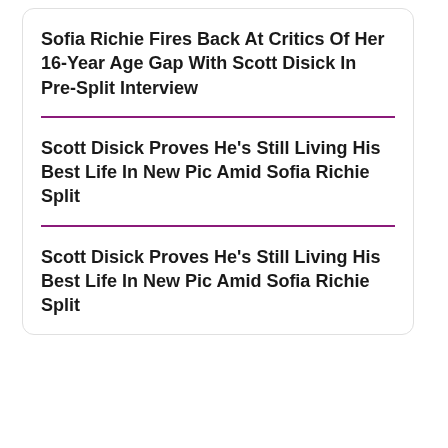Sofia Richie Fires Back At Critics Of Her 16-Year Age Gap With Scott Disick In Pre-Split Interview
Scott Disick Proves He’s Still Living His Best Life In New Pic Amid Sofia Richie Split
Scott Disick Proves He’s Still Living His Best Life In New Pic Amid Sofia Richie Split